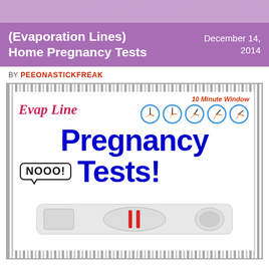(Evaporation Lines) Home Pregnancy Tests
December 14, 2014
BY PEEONASTICKFREAK
[Figure (infographic): Infographic about evaporation lines on home pregnancy tests. Shows 'Evap Line' text in red italic, five clock icons illustrating a 10 Minute Window, large blue text reading 'Pregnancy Tests!', a 'NOOO!' speech bubble, and a photo of a pregnancy test device with two red lines.]